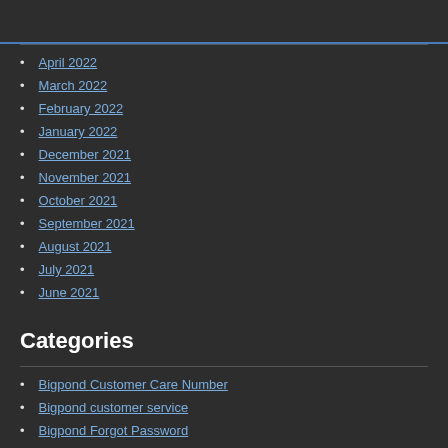April 2022
March 2022
February 2022
January 2022
December 2021
November 2021
October 2021
September 2021
August 2021
July 2021
June 2021
Categories
Bigpond Customer Care Number
Bigpond customer service
Bigpond Forgot Password